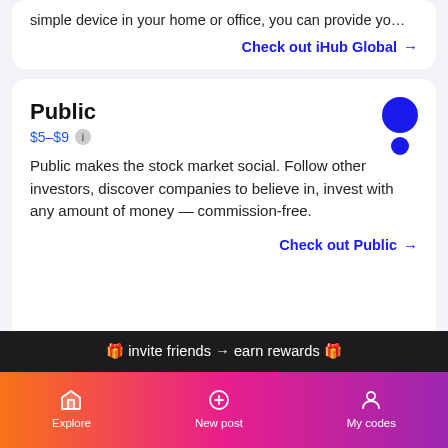simple device in your home or office, you can provide yo…
Check out iHub Global →
Public
$5–$9
Public makes the stock market social. Follow other investors, discover companies to believe in, invest with any amount of money — commission-free.
Check out Public →
Robinhood
🎁 invite friends → earn rewards 🎁
Explore   New post   My codes